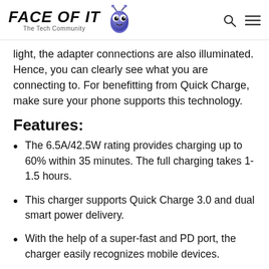FACE OF IT — The Tech Community
dark. It does not hamper your driving. Apart from the side light, the adapter connections are also illuminated. Hence, you can clearly see what you are connecting to. For benefitting from Quick Charge, make sure your phone supports this technology.
Features:
The 6.5A/42.5W rating provides charging up to 60% within 35 minutes. The full charging takes 1-1.5 hours.
This charger supports Quick Charge 3.0 and dual smart power delivery.
With the help of a super-fast and PD port, the charger easily recognizes mobile devices.